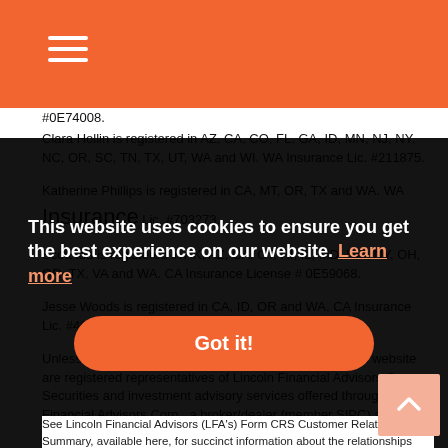[hamburger menu icon in orange header bar]
#0E74008.
Clara Hollin is registered in AZ, CA, CO, FL, GA, ID, MN, NJ, NY, NC, OR, SC, TN, TX, UT, WA and WI. WA Insurance Lic. #211875.
Katherine Phillips is registered in CA, MT, OR, TX and WA. WA Insurance Lic. #703273.
Scott Ida is registered in AK, AZ, CA, CT, HI, IL, MD, NM, NY, OH, OR, TX, VA and WA. CA Insurance License # 0E59068.
Jesse Woods is registered in CA, ID, OR and WA. CA Insurance Lic. #4047887, ID Insurance Lic. #681922.
Unless otherwise identified, registered associates on this website are registered representatives of Lincoln Financial Advisors Corp. Securities and investment advisory services offered through Lincoln Financial Advisors Corp., a broker/dealer (member SIPC) and registered investment advisor. Insurance offered through Lincoln affiliates and other fine companies and state variations thereof. Lincoln Financial Advisors Corp. and its associates/agents do not...
This website uses cookies to ensure you get the best experience on our website. Learn more
Got it!
See Lincoln Financial Advisors (LFA's) Form CRS Customer Relationship Summary, available here, for succinct information about the relationships and services LFA